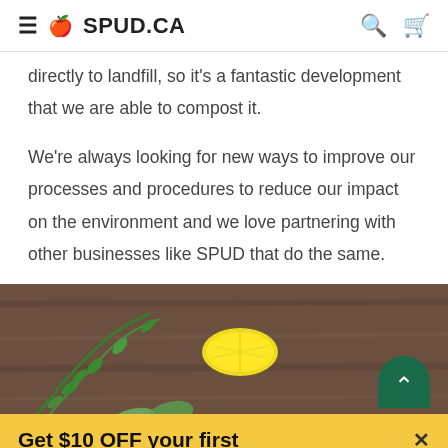SPUD.CA
directly to landfill, so it's a fantastic development that we are able to compost it.
We're always looking for new ways to improve our processes and procedures to reduce our impact on the environment and we love partnering with other businesses like SPUD that do the same.
[Figure (photo): Photo of fresh herbs (rosemary, sage), garlic, a lemon wedge on a wooden surface, partially visible. In the lower portion, a yellow promotional banner reads 'Get $10 OFF your first' with a close (×) button.]